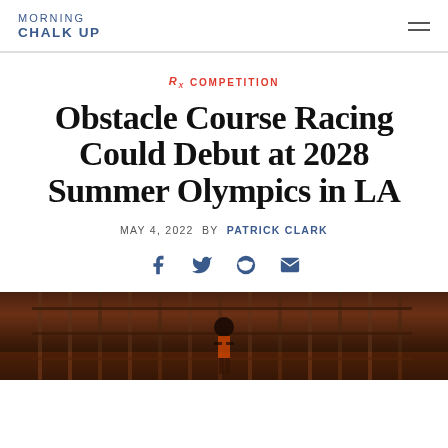MORNING CHALK UP
Rx COMPETITION
Obstacle Course Racing Could Debut at 2028 Summer Olympics in LA
MAY 4, 2022 BY PATRICK CLARK
[Figure (other): Social share icons: Facebook, Twitter, Reddit, Email]
[Figure (photo): Dark image of a person on an obstacle course structure, backlit with warm orange/red tones]